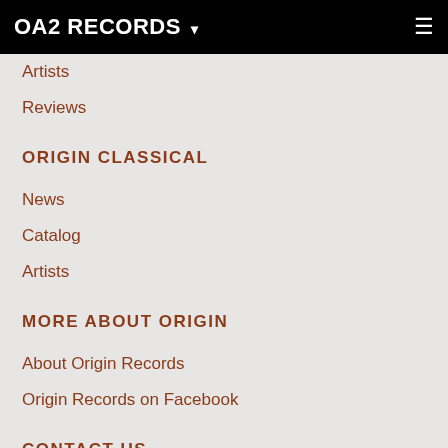OA2 RECORDS ▾  ☰
Artists
Reviews
ORIGIN CLASSICAL
News
Catalog
Artists
MORE ABOUT ORIGIN
About Origin Records
Origin Records on Facebook
CONTACT US